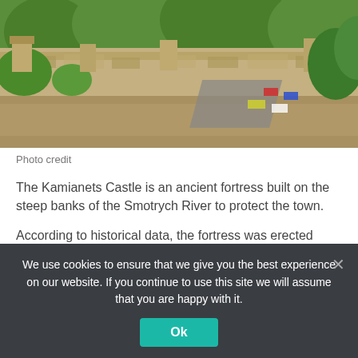[Figure (photo): Aerial/elevated view of Kamianets Castle fortress on steep rocky banks with green vegetation, a road with cars visible, stone fortress walls extending across a hillside.]
Photo credit
The Kamianets Castle is an ancient fortress built on the steep banks of the Smotrych River to protect the town.
According to historical data, the fortress was erected some time in the 12th – 13th centuries AD. At first it was used as defence building made of wood.
We use cookies to ensure that we give you the best experience on our website. If you continue to use this site we will assume that you are happy with it.